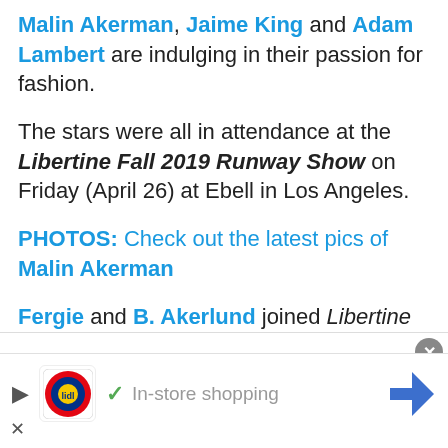Malin Akerman, Jaime King and Adam Lambert are indulging in their passion for fashion.
The stars were all in attendance at the Libertine Fall 2019 Runway Show on Friday (April 26) at Ebell in Los Angeles.
PHOTOS: Check out the latest pics of Malin Akerman
Fergie and B. Akerlund joined Libertine co-founder Johnson Hartig at the event.
Monca, Dita Von Teese, Constance (cut off)
[Figure (screenshot): Lidl advertisement banner at bottom of page with play button, Lidl logo, checkmark, 'In-store shopping' text, and navigation arrow icon]